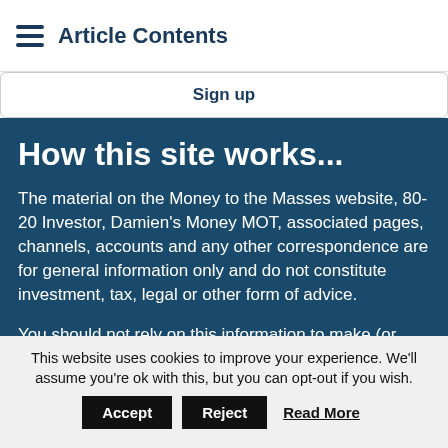Article Contents
Sign up
How this site works...
The material on the Money to the Masses website, 80-20 Investor, Damien's Money MOT, associated pages, channels, accounts and any other correspondence are for general information only and do not constitute investment, tax, legal or other form of advice.
You should not rely on this information to make (or
This website uses cookies to improve your experience. We'll assume you're ok with this, but you can opt-out if you wish.
Accept  Reject  Read More